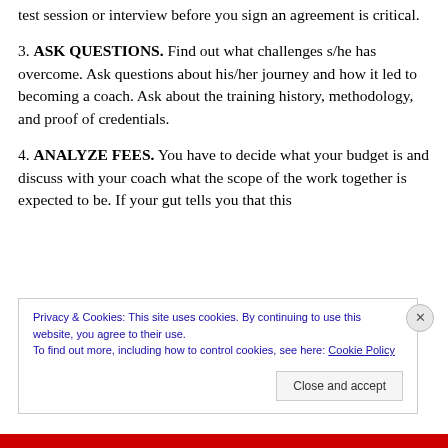test session or interview before you sign an agreement is critical.
3. ASK QUESTIONS.  Find out what challenges s/he has overcome. Ask questions about his/her journey and how it led to becoming a coach.  Ask about the training history, methodology, and proof of credentials.
4. ANALYZE FEES.  You have to decide what your budget is and discuss with your coach what the scope of the work together is expected to be.  If your gut tells you that this
Privacy & Cookies: This site uses cookies. By continuing to use this website, you agree to their use.
To find out more, including how to control cookies, see here: Cookie Policy
Close and accept